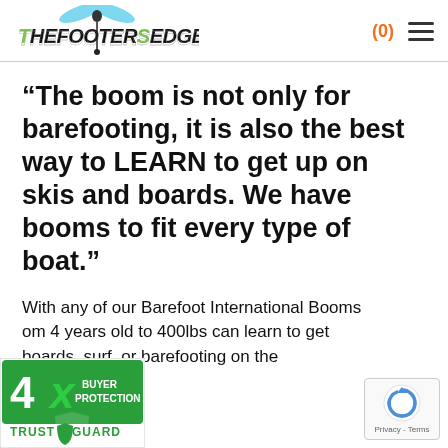thefootersedge.com (0)
“The boom is not only for barefooting, it is also the best way to LEARN to get up on skis and boards. We have booms to fit every type of boat.”
With any of our Barefoot International Booms … om 4 years old to 400lbs can learn to get … boards, surf, or barefooting on the …
[Figure (logo): 4x Buyer Protection Trust Guard badge]
[Figure (logo): reCAPTCHA badge with Privacy - Terms text]